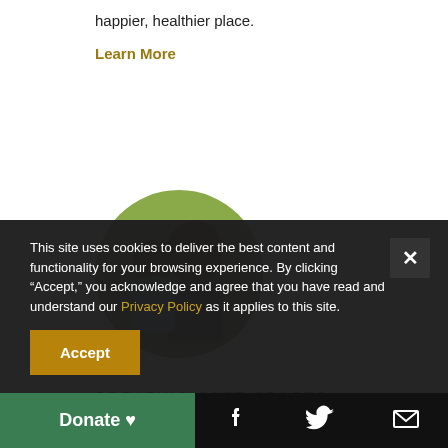happier, healthier place.
Learn More
[Figure (photo): Circular photo of a father and daughter outdoors, smiling]
CREATING SAFE SPACES
Promoting more-inclusive outdoor experiences for all
Read More
This site uses cookies to deliver the best content and functionality for your browsing experience. By clicking "Accept," you acknowledge and agree that you have read and understand our Privacy Policy as it applies to this site.
Accept
Donate
[Figure (illustration): Footer bar with Donate button, Facebook icon, Twitter icon, and email icon]